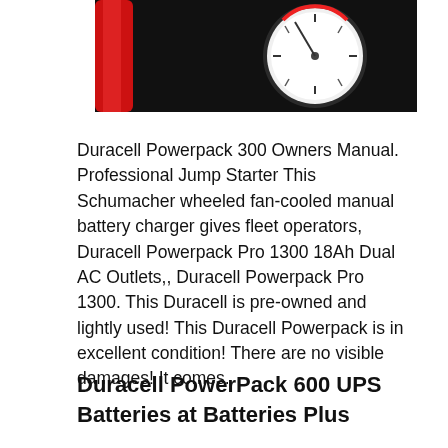[Figure (photo): Close-up photo of a pressure gauge with a white dial face, shown against a dark background with red cables visible on the left side.]
Duracell Powerpack 300 Owners Manual. Professional Jump Starter This Schumacher wheeled fan-cooled manual battery charger gives fleet operators, Duracell Powerpack Pro 1300 18Ah Dual AC Outlets,, Duracell Powerpack Pro 1300. This Duracell is pre-owned and lightly used! This Duracell Powerpack is in excellent condition! There are no visible damages! It comes.
Duracell PowerPack 600 UPS Batteries at Batteries Plus